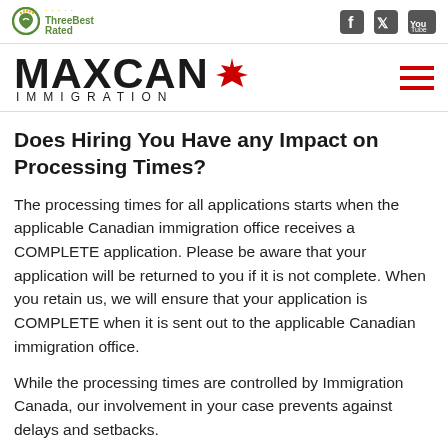[Figure (logo): ThreeBest Rated badge logo with green circular icon and yellow dots]
[Figure (logo): Social media icons: Facebook, Twitter, YouTube]
[Figure (logo): MAXCAN Immigration logo with red maple leaf and hamburger menu icon]
Does Hiring You Have any Impact on Processing Times?
The processing times for all applications starts when the applicable Canadian immigration office receives a COMPLETE application. Please be aware that your application will be returned to you if it is not complete. When you retain us, we will ensure that your application is COMPLETE when it is sent out to the applicable Canadian immigration office.
While the processing times are controlled by Immigration Canada, our involvement in your case prevents against delays and setbacks.